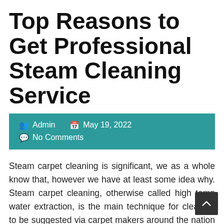Top Reasons to Get Professional Steam Cleaning Service
Admin   May 19, 2022   No Comments
Steam carpet cleaning is significant, we as a whole know that, however we have at least some idea why. Steam carpet cleaning, otherwise called high temp water extraction, is the main technique for cleaning to be suggested via carpet makers around the nation and industry bodies like the National Carpet Cleaners Association NCCA. Different strategies for example, dry cleaning and can…